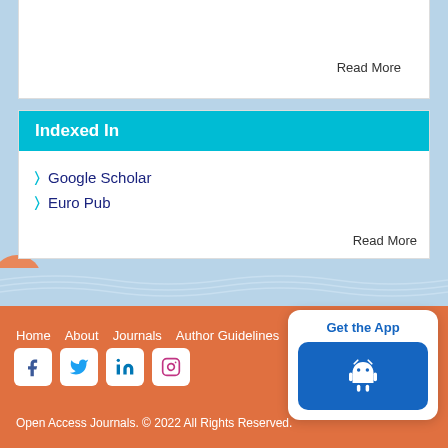Read More
Indexed In
Google Scholar
Euro Pub
Read More
Home  About  Journals  Author Guidelines
Open Access Journals. © 2022 All Rights Reserved.
[Figure (other): Get the App button with Android robot icon]
[Figure (logo): WhatsApp circle icon button in orange]